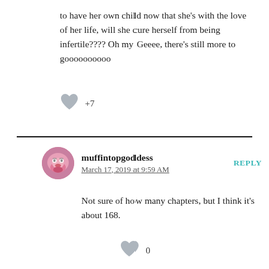to have her own child now that she's with the love of her life, will she cure herself from being infertile???? Oh my Geeee, there's still more to goooooooooo
+7
muffintopgoddess
March 17, 2019 at 9:59 AM
REPLY
Not sure of how many chapters, but I think it's about 168.
0